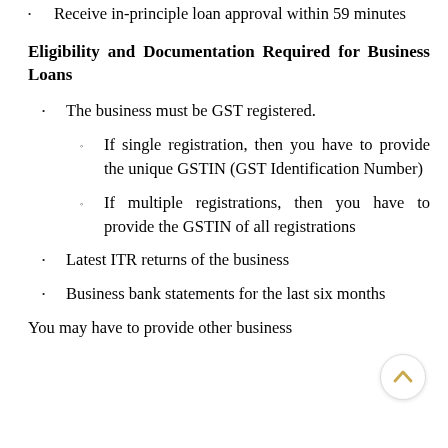Receive in-principle loan approval within 59 minutes
Eligibility and Documentation Required for Business Loans
The business must be GST registered.
If single registration, then you have to provide the unique GSTIN (GST Identification Number)
If multiple registrations, then you have to provide the GSTIN of all registrations
Latest ITR returns of the business
Business bank statements for the last six months
You may have to provide other business